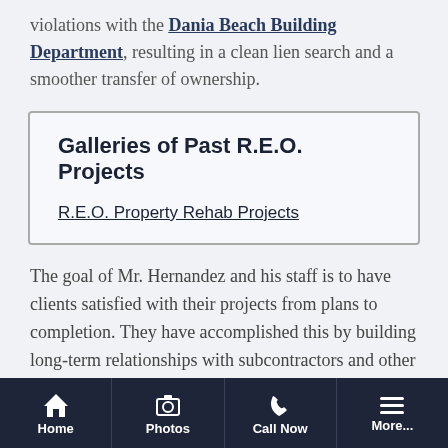violations with the Dania Beach Building Department, resulting in a clean lien search and a smoother transfer of ownership.
Galleries of Past R.E.O. Projects
R.E.O. Property Rehab Projects
The goal of Mr. Hernandez and his staff is to have clients satisfied with their projects from plans to completion. They have accomplished this by building long-term relationships with subcontractors and other industry partners allowing for the best quality, service, and prices to be passed along to you.
Call us today at 305-554-5711 or contact us via our
Home | Photos | Call Now | More...